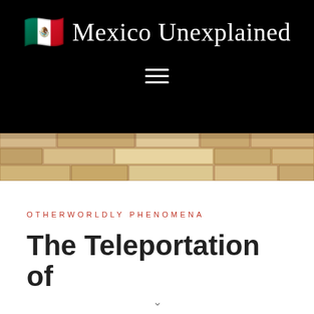Mexico Unexplained
[Figure (illustration): Stone wall texture banner image showing stacked tan and beige stone bricks]
OTHERWORLDLY PHENOMENA
The Teleportation of